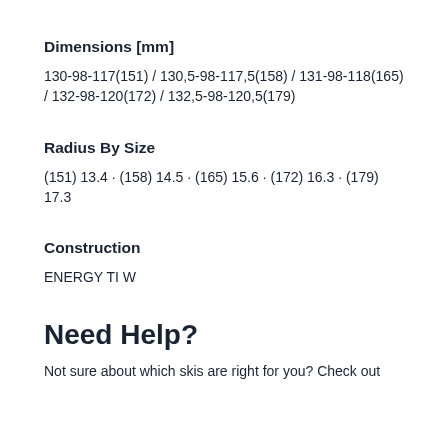Dimensions [mm]
130-98-117(151) / 130,5-98-117,5(158) / 131-98-118(165) / 132-98-120(172) / 132,5-98-120,5(179)
Radius By Size
(151) 13.4 · (158) 14.5 · (165) 15.6 · (172) 16.3 · (179) 17.3
Construction
ENERGY TI W
Need Help?
Not sure about which skis are right for you? Check out